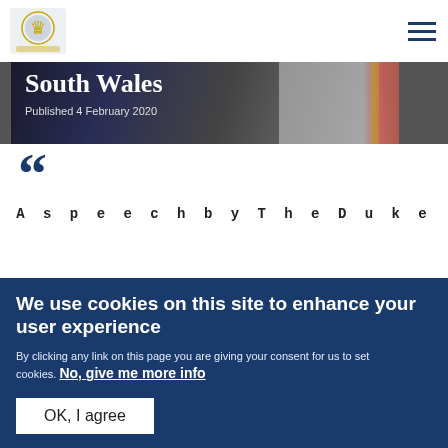Royal family website header with logo and navigation menu
[Figure (photo): Hero image showing South Wales with Welsh flag items, dark background with text 'South Wales' and 'Published 4 February 2020']
South Wales
Published 4 February 2020
[Figure (illustration): Large decorative opening quotation marks in dark blue]
A speech by The Duke
We use cookies on this site to enhance your user experience
By clicking any link on this page you are giving your consent for us to set cookies. No, give me more info
OK, I agree